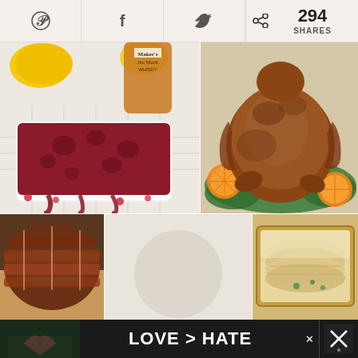[Figure (infographic): Social share bar with Pinterest, Facebook, Twitter icons and 294 shares count]
[Figure (photo): Cranberry sauce in white dish with Maker's Mark whisky bottle and lemons in background]
[Figure (photo): Roasted whole turkey on platter with oranges and greens]
[Figure (photo): Bacon-wrapped roast on cutting board]
[Figure (infographic): Text overlay reading BEST HOLIDAY MEAL in red serif font over food collage]
[Figure (photo): Creamy potato gratin or scalloped dish in baking pan]
[Figure (photo): Advertisement banner: LOVE > HATE with hands forming heart shape, close button, and app logo]